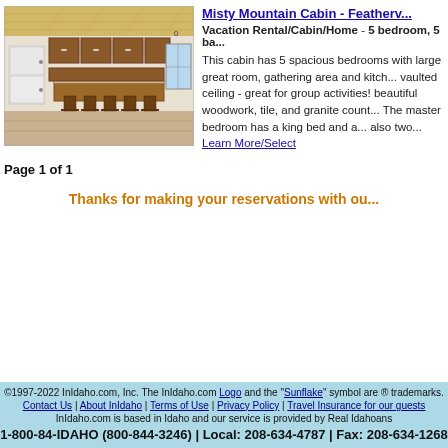[Figure (photo): Interior photo of a cabin kitchen with wooden cabinetry, bar stools, and white appliances]
Misty Mountain Cabin - Featherv...
Vacation Rental/Cabin/Home - 5 bedroom, 5 ba... This cabin has 5 spacious bedrooms with large great room, gathering area and kitch... vaulted ceiling - great for group activities! beautiful woodwork, tile, and granite count... The master bedroom has a king bed and a... also two... Learn More/Select
Page 1 of 1
Thanks for making your reservations with ou...
©1997-2022 InIdaho.com, Inc. The InIdaho.com Logo and the "Sunflake" symbol are ® trademarks. Contact Us | About InIdaho | Terms of Use | Privacy Policy | Travel Insurance for our guests InIdaho.com is based in Idaho and our service is provided by Real Idahoans 1-800-84-IDAHO (800-844-3246) | Local: 208-634-4787 | Fax: 208-634-1268